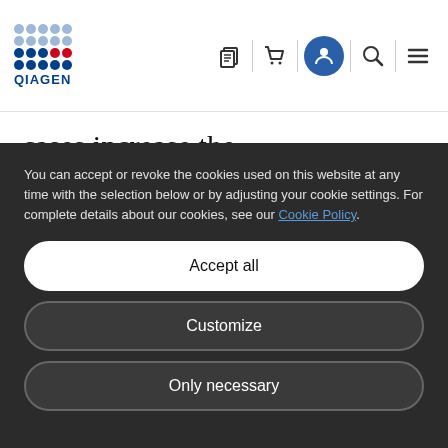[Figure (logo): QIAGEN logo with blue and red dot grid and QIAGEN text]
cases increase the transmissibility of the virus. The rise of these “Variants of Concern” (VOC)* and “Variants of Interest” (VOI)* has triggered a requirement for fast, accurate and scalable viral sequencing to match global
You can accept or revoke the cookies used on this website at any time with the selection below or by adjusting your cookie settings. For complete details about our cookies, see our Cookie Policy.
Accept all
Customize
Only necessary